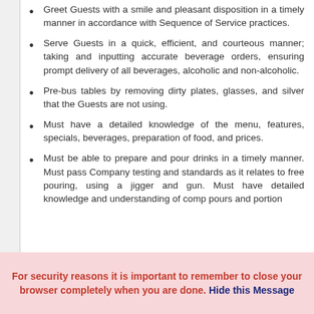Greet Guests with a smile and pleasant disposition in a timely manner in accordance with Sequence of Service practices.
Serve Guests in a quick, efficient, and courteous manner; taking and inputting accurate beverage orders, ensuring prompt delivery of all beverages, alcoholic and non-alcoholic.
Pre-bus tables by removing dirty plates, glasses, and silver that the Guests are not using.
Must have a detailed knowledge of the menu, features, specials, beverages, preparation of food, and prices.
Must be able to prepare and pour drinks in a timely manner. Must pass Company testing and standards as it relates to free pouring, using a jigger and gun. Must have detailed knowledge and understanding of comp pours and portion
For security reasons it is important to remember to close your browser completely when you are done. Hide this Message